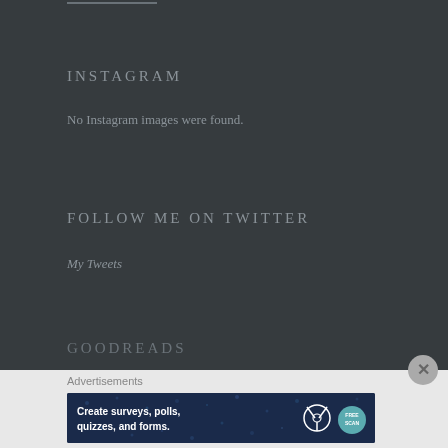INSTAGRAM
No Instagram images were found.
FOLLOW ME ON TWITTER
My Tweets
GOODREADS
Advertisements
[Figure (screenshot): Advertisement banner: Create surveys, polls, quizzes, and forms. WordPress and Try icons on dark blue background.]